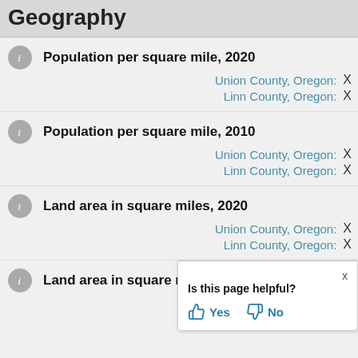Geography
Population per square mile, 2020
Union County, Oregon: X
Linn County, Oregon: X
Population per square mile, 2010
Union County, Oregon: X
Linn County, Oregon: X
Land area in square miles, 2020
Union County, Oregon: X
Linn County, Oregon: X
Land area in square miles, 2010
Union County, Oregon: X
Linn County, Oregon: X
[Figure (screenshot): Tooltip popup asking 'Is this page helpful?' with Yes and No thumbs buttons and an X close button]